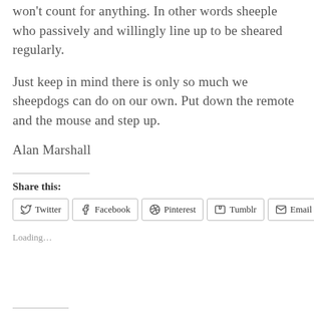won't count for anything. In other words sheeple who passively and willingly line up to be sheared regularly.
Just keep in mind there is only so much we sheepdogs can do on our own. Put down the remote and the mouse and step up.
Alan Marshall
Share this:
Twitter  Facebook  Pinterest  Tumblr  Email
Loading…